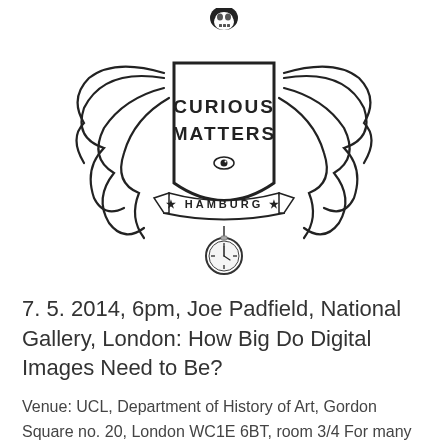[Figure (logo): Curious Matters Hamburg logo — a heraldic-style emblem featuring a shield with 'CURIOUS MATTERS' text and an eye, flanked by octopus tentacles, topped with a skull, and a pocket watch hanging below. A banner reads 'HAMBURG' with two stars.]
7. 5. 2014, 6pm, Joe Padfield, National Gallery, London: How Big Do Digital Images Need to Be?
Venue: UCL, Department of History of Art, Gordon Square no. 20, London WC1E 6BT, room 3/4 For many years the cost and speed of digital technology has restricted the practical...